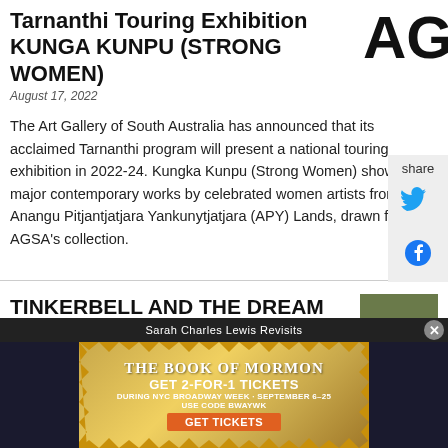Tarnanthi Touring Exhibition KUNGA KUNPU (STRONG WOMEN)
August 17, 2022
The Art Gallery of South Australia has announced that its acclaimed Tarnanthi program will present a national touring exhibition in 2022-24. Kungka Kunpu (Strong Women) showcases major contemporary works by celebrated women artists from the Anangu Pitjantjatjara Yankunytjatjara (APY) Lands, drawn from AGSA's collection.
TINKERBELL AND THE DREAM FAIRIES Come to Adelaide's Botanic Gardens This Spring
August 17, 2022
[Figure (photo): Group of performers in colourful costumes]
[Figure (advertisement): The Book of Mormon Broadway advertisement - GET 2-FOR-1 TICKETS DURING NYC BROADWAY WEEK SEPTEMBER 6-25 USE CODE BWAYWK GET TICKETS]